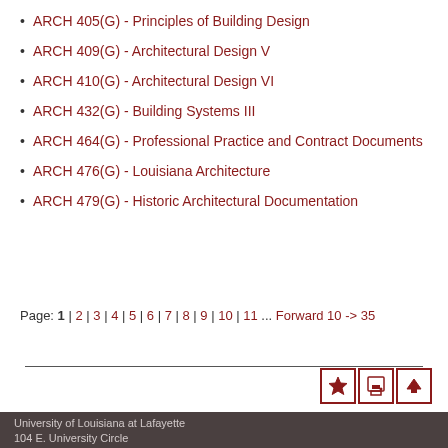ARCH 405(G) - Principles of Building Design
ARCH 409(G) - Architectural Design V
ARCH 410(G) - Architectural Design VI
ARCH 432(G) - Building Systems III
ARCH 464(G) - Professional Practice and Contract Documents
ARCH 476(G) - Louisiana Architecture
ARCH 479(G) - Historic Architectural Documentation
Page: 1 | 2 | 3 | 4 | 5 | 6 | 7 | 8 | 9 | 10 | 11 ... Forward 10 -> 35
University of Louisiana at Lafayette
104 E. University Circle